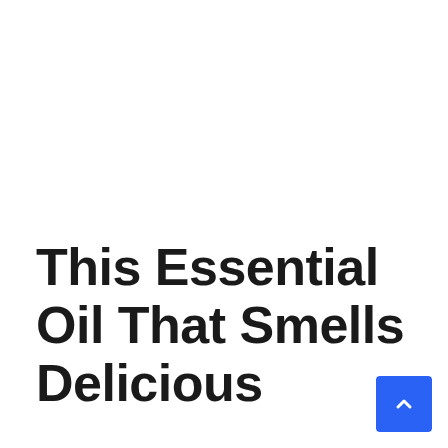This Essential Oil That Smells Delicious